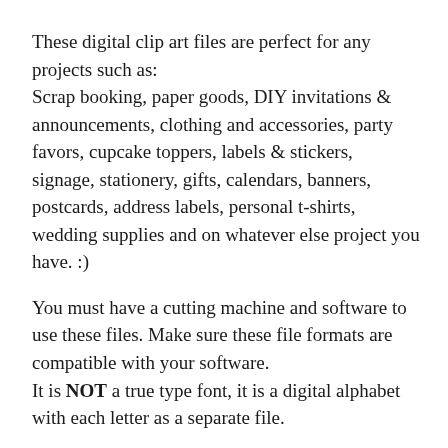These digital clip art files are perfect for any projects such as:
Scrap booking, paper goods, DIY invitations & announcements, clothing and accessories, party favors, cupcake toppers, labels & stickers, signage, stationery, gifts, calendars, banners, postcards, address labels, personal t-shirts, wedding supplies and on whatever else project you have. :)
You must have a cutting machine and software to use these files. Make sure these file formats are compatible with your software.
It is NOT a true type font, it is a digital alphabet with each letter as a separate file.